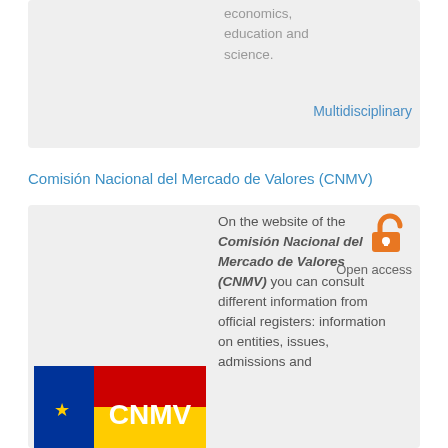economics, education and science.
Multidisciplinary
Comisión Nacional del Mercado de Valores (CNMV)
On the website of the Comisión Nacional del Mercado de Valores (CNMV) you can consult different information from official registers: information on entities, issues, admissions and
[Figure (logo): CNMV logo with EU flag colours and CNMV text]
[Figure (logo): Open access padlock icon in orange]